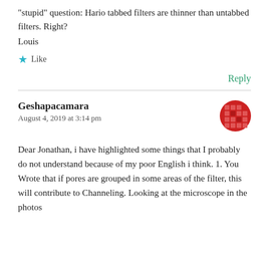"stupid" question: Hario tabbed filters are thinner than untabbed filters. Right?
Louis
★ Like
Reply
Geshapacamara
August 4, 2019 at 3:14 pm
Dear Jonathan, i have highlighted some things that I probably do not understand because of my poor English i think. 1. You Wrote that if pores are grouped in some areas of the filter, this will contribute to Channeling. Looking at the microscope in the photos